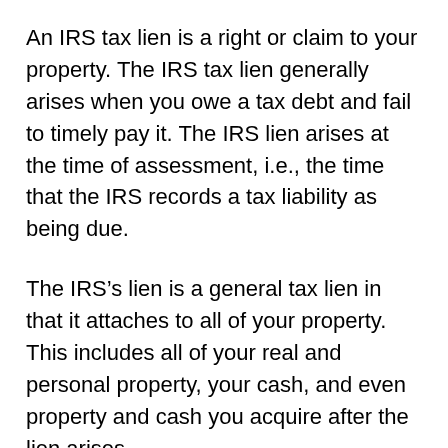An IRS tax lien is a right or claim to your property. The IRS tax lien generally arises when you owe a tax debt and fail to timely pay it. The IRS lien arises at the time of assessment, i.e., the time that the IRS records a tax liability as being due.
The IRS’s lien is a general tax lien in that it attaches to all of your property. This includes all of your real and personal property, your cash, and even property and cash you acquire after the lien arises.